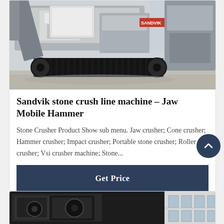[Figure (photo): Sandvik mobile jaw/hammer crusher machine on tracks, viewed from the side, parked on a concrete surface outdoors.]
Sandvik stone crush line machine – Jaw Mobile Hammer
Stone Crusher Product Show sub menu. Jaw crusher; Cone crusher; Hammer crusher; Impact crusher; Portable stone crusher; Roller crusher; Vsi crusher machine; Stone...
Get Price
[Figure (photo): Partial view of another stone crusher machine, dark-colored, with a building visible in the background.]